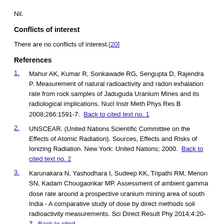Nil.
Conflicts of interest
There are no conflicts of interest.[20]
References
1. Mahur AK, Kumar R, Sonkawade RG, Sengupta D, Rajendra P. Measurement of natural radioactivity and radon exhalation rate from rock samples of Jaduguda Uranium Mines and its radiological implications. Nucl Instr Meth Phys Res B 2008;266:1591-7. Back to cited text no. 1
2. UNSCEAR. (United Nations Scientific Committee on the Effects of Atomic Radiation). Sources, Effects and Risks of Ionizing Radiation. New York: United Nations; 2000. Back to cited text no. 2
3. Karunakara N, Yashodhara I, Sudeep KK, Tripathi RM, Menon SN, Kadam Chougaonkar MP. Assessment of ambient gamma dose rate around a prospective uranium mining area of south India - A comparative study of dose by direct methods soil radioactivity measurements. Sci Direct Result Phy 2014;4:20-7. Back to cited